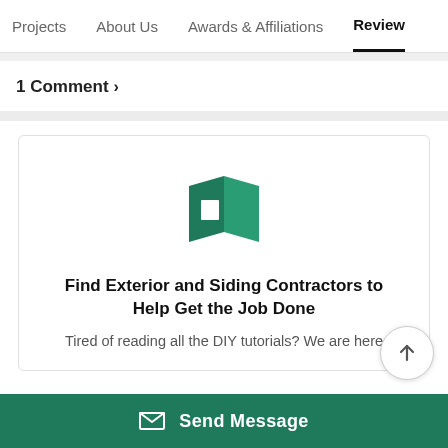Projects   About Us   Awards & Affiliations   Review
1 Comment >
[Figure (illustration): Green open book icon used as logo/illustration for contractor finder service]
Find Exterior and Siding Contractors to Help Get the Job Done
Tired of reading all the DIY tutorials? We are here
Send Message